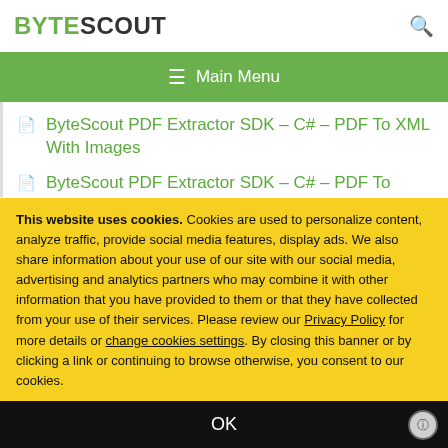BYTESCOUT [search icon]
☰ Main Menu
ByteScout PDF Extractor SDK – C# – PDF To XML With Images
ByteScout PDF Extractor SDK – C# – PDF To
This website uses cookies. Cookies are used to personalize content, analyze traffic, provide social media features, display ads. We also share information about your use of our site with our social media, advertising and analytics partners who may combine it with other information that you have provided to them or that they have collected from your use of their services. Please review our Privacy Policy for more details or change cookies settings. By closing this banner or by clicking a link or continuing to browse otherwise, you consent to our cookies.
OK